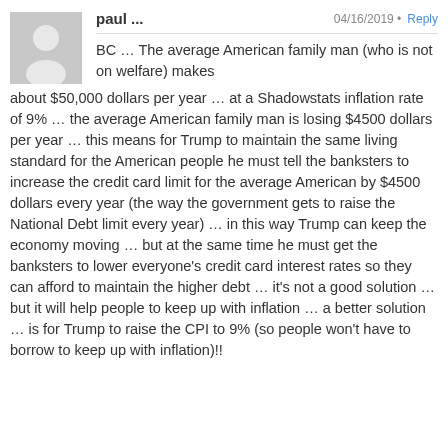paul ...
04/16/2019 • Reply
BC … The average American family man (who is not on welfare) makes about $50,000 dollars per year … at a Shadowstats inflation rate of 9% … the average American family man is losing $4500 dollars per year … this means for Trump to maintain the same living standard for the American people he must tell the banksters to increase the credit card limit for the average American by $4500 dollars every year (the way the government gets to raise the National Debt limit every year) … in this way Trump can keep the economy moving … but at the same time he must get the banksters to lower everyone's credit card interest rates so they can afford to maintain the higher debt … it's not a good solution … but it will help people to keep up with inflation … a better solution … is for Trump to raise the CPI to 9% (so people won't have to borrow to keep up with inflation)!!